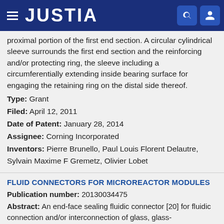JUSTIA
proximal portion of the first end section. A circular cylindrical sleeve surrounds the first end section and the reinforcing and/or protecting ring, the sleeve including a circumferentially extending inside bearing surface for engaging the retaining ring on the distal side thereof.
Type: Grant
Filed: April 12, 2011
Date of Patent: January 28, 2014
Assignee: Corning Incorporated
Inventors: Pierre Brunello, Paul Louis Florent Delautre, Sylvain Maxime F Gremetz, Olivier Lobet
FLUID CONNECTORS FOR MICROREACTOR MODULES
Publication number: 20130034475
Abstract: An end-face sealing fluidic connector [20] for fluidic connection and/or interconnection of glass, glass-